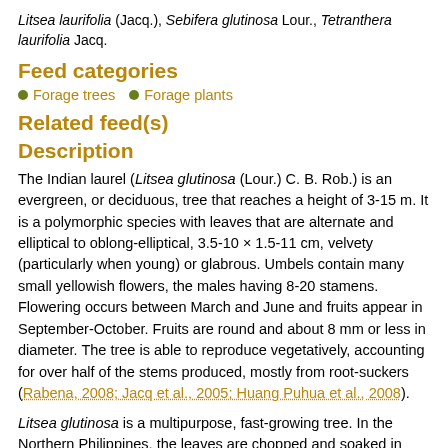Litsea laurifolia (Jacq.), Sebifera glutinosa Lour., Tetranthera laurifolia Jacq.
Feed categories
Forage trees
Forage plants
Related feed(s)
Description
The Indian laurel (Litsea glutinosa (Lour.) C. B. Rob.) is an evergreen, or deciduous, tree that reaches a height of 3-15 m. It is a polymorphic species with leaves that are alternate and elliptical to oblong-elliptical, 3.5-10 × 1.5-11 cm, velvety (particularly when young) or glabrous. Umbels contain many small yellowish flowers, the males having 8-20 stamens. Flowering occurs between March and June and fruits appear in September-October. Fruits are round and about 8 mm or less in diameter. The tree is able to reproduce vegetatively, accounting for over half of the stems produced, mostly from root-suckers (Rabena, 2008; Jacq et al., 2005; Huang Puhua et al., 2008).
Litsea glutinosa is a multipurpose, fast-growing tree. In the Northern Philippines, the leaves are chopped and soaked in water to make plaster. While Litsea glutinosa gives a poor timber due to its low wood density, it is often used as fuel (Rabena, 2008). It was introduced as a source of fuelwood, in the Comoros archipelago in the mid 19th century, to meet the high demand of the sugarcane